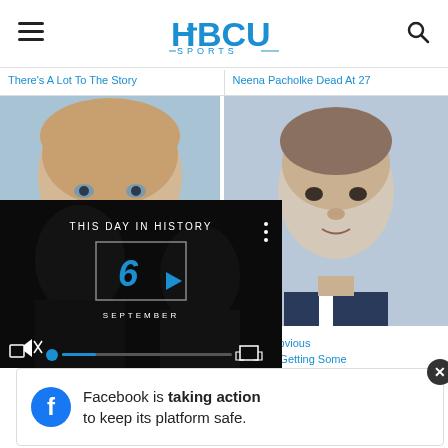HBCU SPORTS
There’s A Lot To The Story
Neena Pacholke Dead At 27
[Figure (photo): Close-up face of a bald older man]
[Figure (photo): Young teen boy in suit, blue background]
[Figure (screenshot): Video player overlay: THIS DAY IN HISTORY, 6 SEPTEMBER, with play button and controls]
Trump’s Obvious rmation Is Getting Some Attention
Tags:
[Figure (infographic): Facebook ad banner: Facebook is taking action to keep its platform safe.]